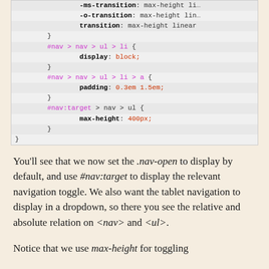[Figure (screenshot): CSS code block showing navigation styles including transition, display, padding, and max-height properties for #nav selectors]
You'll see that we now set the .nav-open to display by default, and use #nav:target to display the relevant navigation toggle. We also want the tablet navigation to display in a dropdown, so there you see the relative and absolute relation on <nav> and <ul>.
Notice that we use max-height for toggling